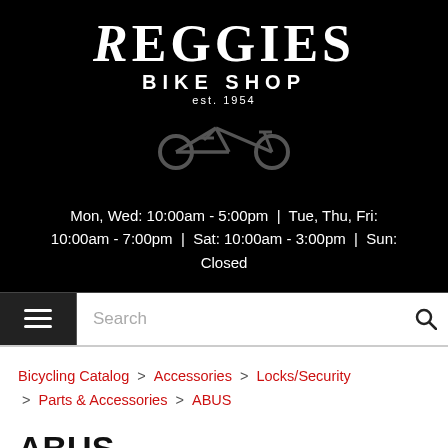[Figure (logo): Reggie's Bike Shop logo — white text on black background with bicycle silhouette. Text reads 'Reggies BIKE SHOP est. 1954']
Mon, Wed: 10:00am - 5:00pm | Tue, Thu, Fri: 10:00am - 7:00pm | Sat: 10:00am - 3:00pm | Sun: Closed
Search
Bicycling Catalog > Accessories > Locks/Security > Parts & Accessories > ABUS
ABUS Alarmbox 2.0 w/Adaptor Chain